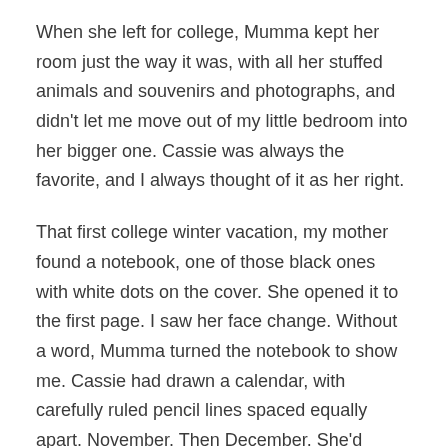When she left for college, Mumma kept her room just the way it was, with all her stuffed animals and souvenirs and photographs, and didn't let me move out of my little bedroom into her bigger one. Cassie was always the favorite, and I always thought of it as her right.
That first college winter vacation, my mother found a notebook, one of those black ones with white dots on the cover. She opened it to the first page. I saw her face change. Without a word, Mumma turned the notebook to show me. Cassie had drawn a calendar, with carefully ruled pencil lines spaced equally apart. November. Then December. She'd crossed off the days, each one, with an X in black marker.